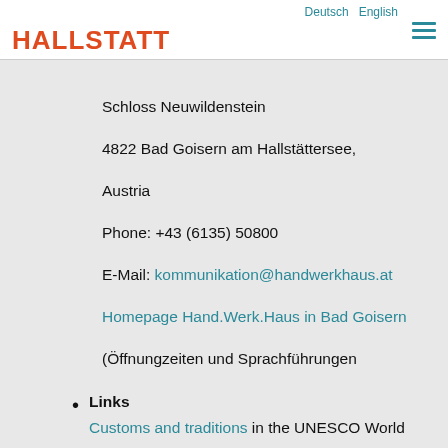Deutsch  English
HALLSTATT
Schloss Neuwildenstein
4822 Bad Goisern am Hallstättersee, Austria
Phone: +43 (6135) 50800
E-Mail: kommunikation@handwerkhaus.at
Homepage Hand.Werk.Haus in Bad Goisern
(Öffnungzeiten und Sprachführungen
Links
Customs and traditions in the UNESCO World Heritage region of Halstatt Dachstein Salzkammergut.
Interesting link
Pictures from the World Heritage
Impressions from Bad Goisern on Lake Hallstatt
Look now ...